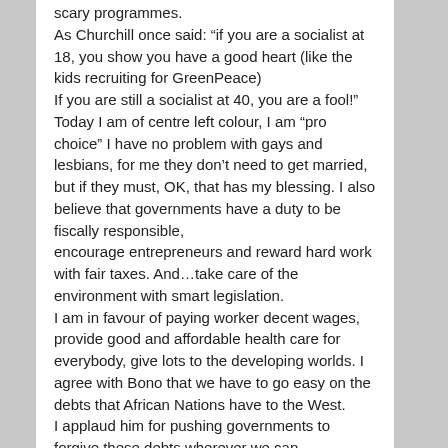scary programmes. As Churchill once said: “if you are a socialist at 18, you show you have a good heart (like the kids recruiting for GreenPeace) If you are still a socialist at 40, you are a fool!” Today I am of centre left colour, I am “pro choice” I have no problem with gays and lesbians, for me they don’t need to get married, but if they must, OK, that has my blessing. I also believe that governments have a duty to be fiscally responsible, encourage entrepreneurs and reward hard work with fair taxes. And…take care of the environment with smart legislation. I am in favour of paying worker decent wages, provide good and affordable health care for everybody, give lots to the developing worlds. I agree with Bono that we have to go easy on the debts that African Nations have to the West. I applaud him for pushing governments to forgive these debts wherever we can. As I said earlier, Poverty is the biggest problem we